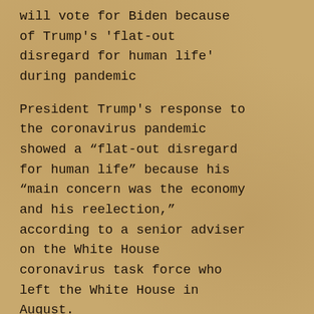will vote for Biden because of Trump's 'flat-out disregard for human life' during pandemic
President Trump's response to the coronavirus pandemic showed a “flat-out disregard for human life” because his “main concern was the economy and his reelection,” according to a senior adviser on the White House coronavirus task force who left the White House in August.